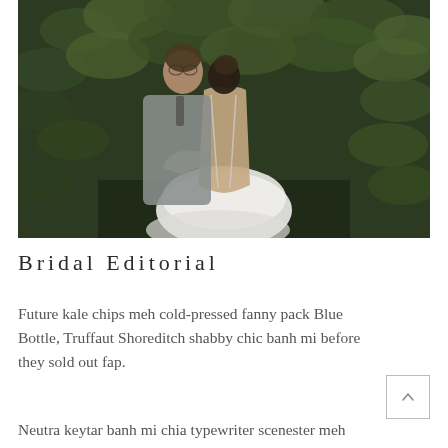[Figure (photo): A couple embracing outdoors in front of lush green foliage. The woman faces away showing the open back of her white wedding dress with thin straps and tulle skirt. The man in a grey suit with glasses holds her waist and leans in close.]
Bridal Editorial
Future kale chips meh cold-pressed fanny pack Blue Bottle, Truffaut Shoreditch shabby chic banh mi before they sold out fap.
Neutra keytar banh mi chia typewriter scenester meh